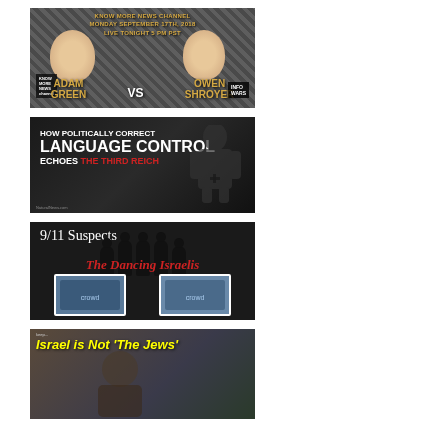[Figure (screenshot): YouTube thumbnail: Know More News Channel, Monday September 17th 2018, Live Tonight 5 PM PST. Adam Green vs Owen Shroyer. Features faces of two people on a metal diamond plate background with Know More News and InfoWars logos.]
[Figure (screenshot): Video thumbnail with dark background showing: 'How Politically Correct Language Control Echoes The Third Reich' in bold white text with 'The Third Reich' in red. A silhouette figure is visible on the right.]
[Figure (screenshot): Video thumbnail with dark background: '9/11 Suspects' in serif font at top, five silhouettes in a police lineup, 'The Dancing Israelis' in red italic text, and two photos at the bottom.]
[Figure (screenshot): Video thumbnail with blurred background showing a person. Yellow italic bold text: 'Israel is Not The Jews']